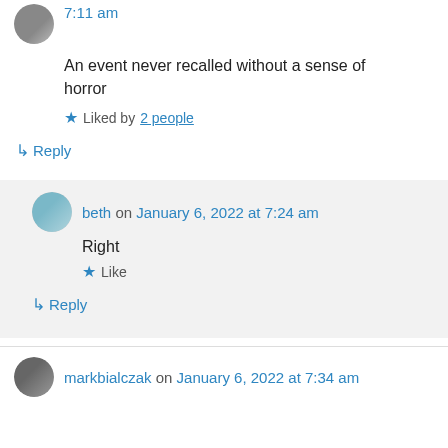7:11 am
An event never recalled without a sense of horror
★ Liked by 2 people
↳ Reply
beth on January 6, 2022 at 7:24 am
Right
★ Like
↳ Reply
markbialczak on January 6, 2022 at 7:34 am